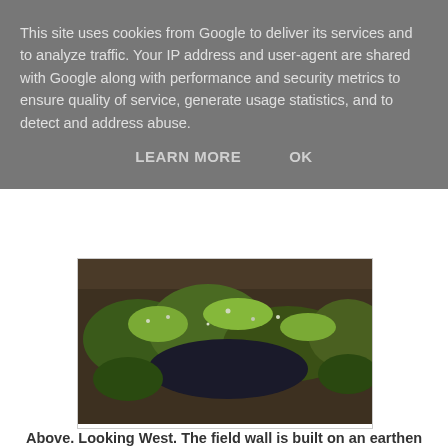This site uses cookies from Google to deliver its services and to analyze traffic. Your IP address and user-agent are shared with Google along with performance and security metrics to ensure quality of service, generate usage statistics, and to detect and address abuse.
LEARN MORE    OK
[Figure (photo): Aerial or overhead view of a field wall area with dense green vegetation and dark soil/rock visible beneath, looking west.]
Above. Looking West. The field wall is built on an earthen bank some six to eight feet high.
[Figure (photo): Landscape photo showing a green field under a blue sky with light clouds, and dark green trees/hedgerow on the right side.]